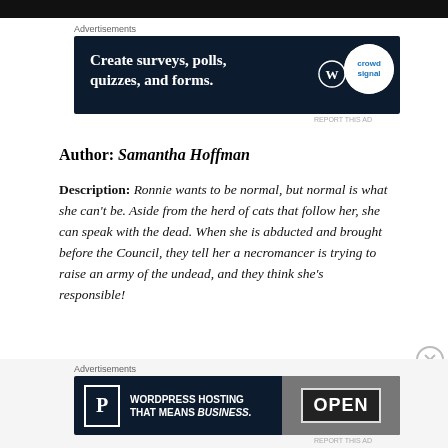[Figure (screenshot): Black top navigation bar]
[Figure (screenshot): Advertisement banner: Create surveys, polls, quizzes, and forms. (WordPress/Crowdsignal ad on dark navy background)]
Author: Samantha Hoffman
Description: Ronnie wants to be normal, but normal is what she can't be. Aside from the herd of cats that follow her, she can speak with the dead. When she is abducted and brought before the Council, they tell her a necromancer is trying to raise an army of the undead, and they think she's responsible!
[Figure (screenshot): Advertisement banner: WordPress Hosting That Means Business. (dark navy background with OPEN sign photo)]